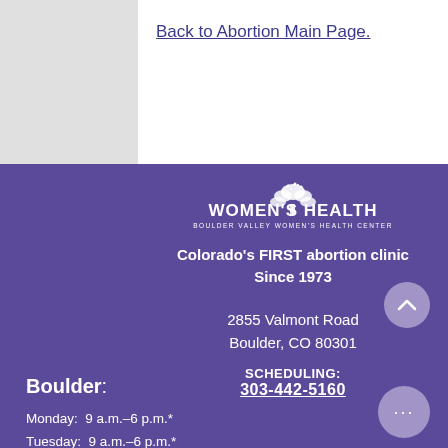Back to Abortion Main Page.
[Figure (logo): Women's Health Boulder Valley Women's Health Center logo with tree icon]
Colorado's FIRST abortion clinic Since 1973
2855 Valmont Road Boulder, CO 80301
SCHEDULING: 303-442-5160
Boulder:
Monday: 9 a.m.–6 p.m.*
Tuesday: 9 a.m.–6 p.m.*